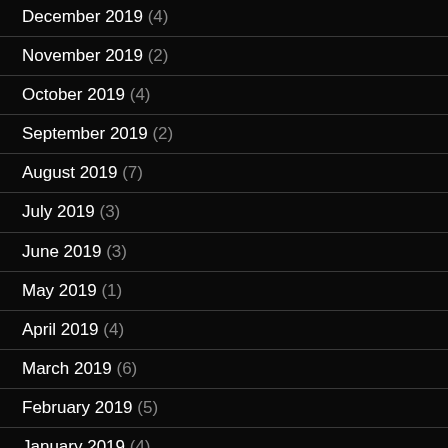December 2019 (4)
November 2019 (2)
October 2019 (4)
September 2019 (2)
August 2019 (7)
July 2019 (3)
June 2019 (3)
May 2019 (1)
April 2019 (4)
March 2019 (6)
February 2019 (5)
January 2019 (4)
December 2018 (3)